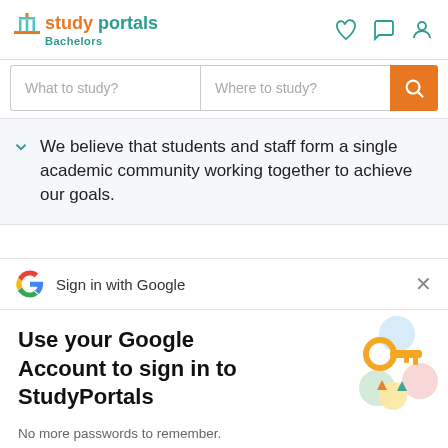studyportals Bachelors
What to study?  Where to study?
We believe that students and staff form a single academic community working together to achieve our goals.
Sign in with Google
Use your Google Account to sign in to StudyPortals
No more passwords to remember. Signing in is fast, simple and secure.
[Figure (illustration): Google key illustration with colorful circles and a gold key]
Continue